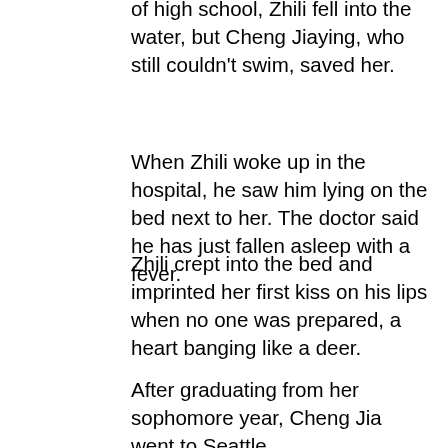of high school, Zhili fell into the water, but Cheng Jiaying, who still couldn't swim, saved her.
When Zhili woke up in the hospital, he saw him lying on the bed next to her. The doctor said he has just fallen asleep with a fever.
Zhili crept into the bed and imprinted her first kiss on his lips when no one was prepared, a heart banging like a deer.
After graduating from her sophomore year, Cheng Jia went to Seattle.
At that time, Jiaying 174cm, Zhili 176cm.
In the waiting room of the airport, Zhili cried and shouted goodbye to him.
Cheng Jiaying said, however, as a woman of 174...